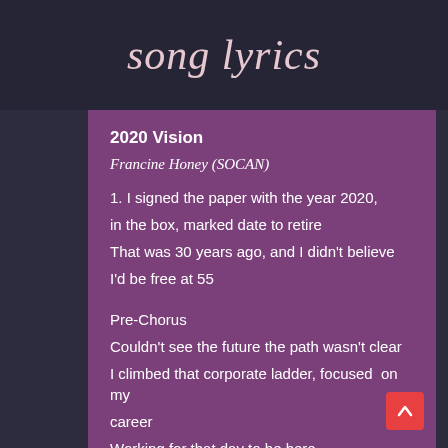song lyrics
2020 Vision
Francine Honey (SOCAN)
1.  I signed the paper with the year 2020,
in the box, marked date to retire
That was 30 years ago, and I didn’t believe
I’d be free at 55
Pre-Chorus
Couldn’t see the future the path wasn’t clear
I climbed that corporate ladder, focused  on my career
Working for that day to be here